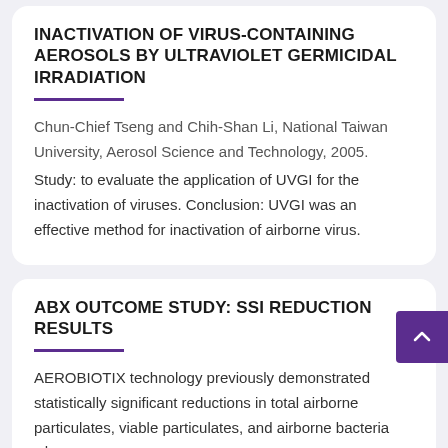INACTIVATION OF VIRUS-CONTAINING AEROSOLS BY ULTRAVIOLET GERMICIDAL IRRADIATION
Chun-Chief Tseng and Chih-Shan Li, National Taiwan University, Aerosol Science and Technology, 2005.
Study: to evaluate the application of UVGI for the inactivation of viruses. Conclusion: UVGI was an effective method for inactivation of airborne virus.
ABX OUTCOME STUDY: SSI REDUCTION RESULTS
AEROBIOTIX technology previously demonstrated statistically significant reductions in total airborne particulates, viable particulates, and airborne bacteria when